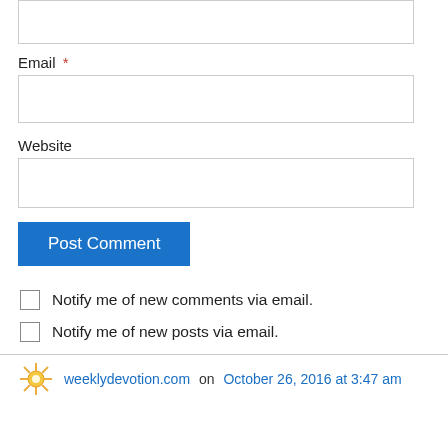Email *
Website
Post Comment
Notify me of new comments via email.
Notify me of new posts via email.
weeklydevotion.com on October 26, 2016 at 3:47 am